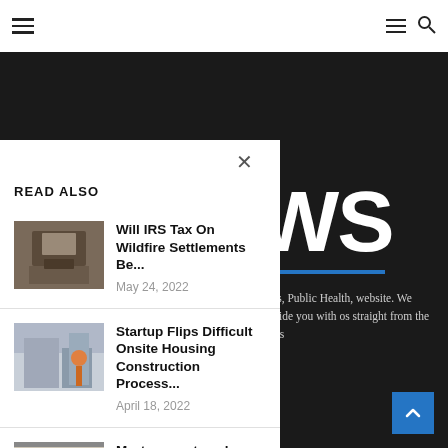Navigation bar with hamburger menu and search icons
READ ALSO
Will IRS Tax On Wildfire Settlements Be... — May 24, 2022
Startup Flips Difficult Onsite Housing Construction Process... — April 18, 2022
Mortgage rates plunge just as home prices...
WS
news, Public Health, website. We provide you with os straight from the News